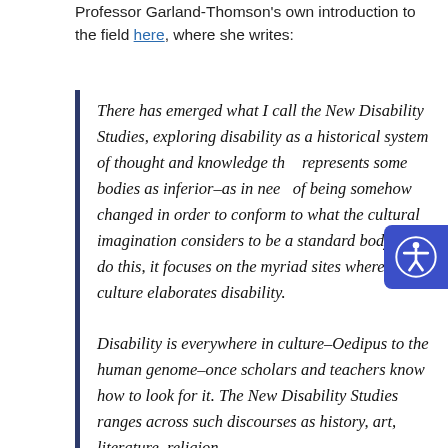Professor Garland-Thomson's own introduction to the field here, where she writes:
There has emerged what I call the New Disability Studies, exploring disability as a historical system of thought and knowledge that represents some bodies as inferior–as in need of being somehow changed in order to conform to what the cultural imagination considers to be a standard body. To do this, it focuses on the myriad sites where culture elaborates disability.
Disability is everywhere in culture–Oedipus to the human genome–once scholars and teachers know how to look for it. The New Disability Studies ranges across such discourses as history, art, literature, religion